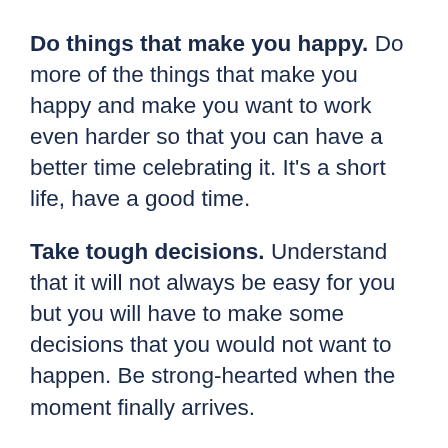Do things that make you happy. Do more of the things that make you happy and make you want to work even harder so that you can have a better time celebrating it. It's a short life, have a good time.
Take tough decisions. Understand that it will not always be easy for you but you will have to make some decisions that you would not want to happen. Be strong-hearted when the moment finally arrives.
Time management. Time